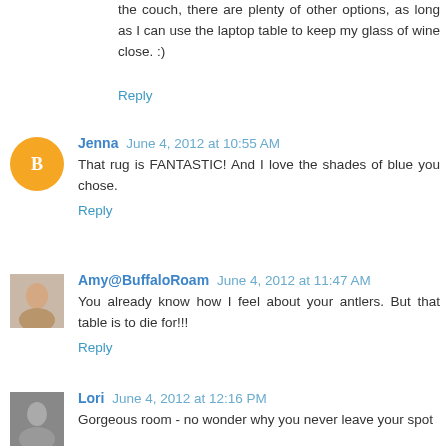the couch, there are plenty of other options, as long as I can use the laptop table to keep my glass of wine close. :)
Reply
Jenna June 4, 2012 at 10:55 AM
That rug is FANTASTIC! And I love the shades of blue you chose.
Reply
Amy@BuffaloRoam June 4, 2012 at 11:47 AM
You already know how I feel about your antlers. But that table is to die for!!!
Reply
Lori June 4, 2012 at 12:16 PM
Gorgeous room - no wonder why you never leave your spot on :) Maybe I need a kid-free weekend, that table seems so great.